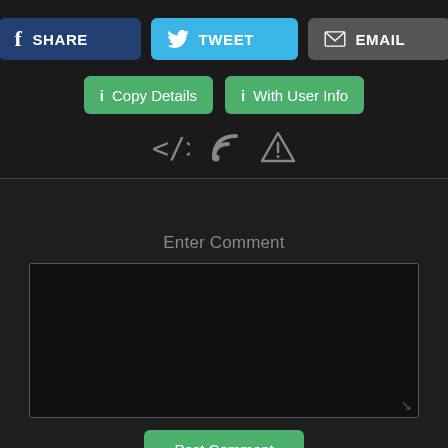[Figure (screenshot): Social share buttons row: Facebook Share (dark blue), Tweet (light blue), Email (dark gray)]
[Figure (screenshot): Two green action buttons: 'i Copy Details' and 'i With User Info']
[Figure (screenshot): Icon row: code icon </>, RSS feed icon, warning triangle icon]
Enter Comment
[Figure (screenshot): Text area input box for entering a comment]
[Figure (screenshot): Post Comment green button]